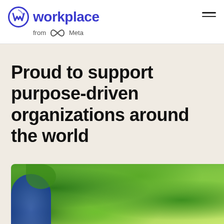workplace from Meta
Proud to support purpose-driven organizations around the world
[Figure (photo): Outdoor photo showing green foliage/leaves with a person wearing blue clothing visible in the lower left corner]